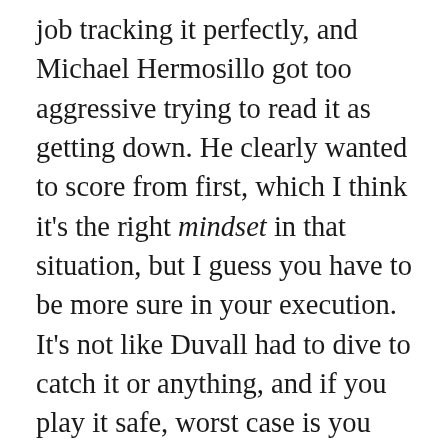job tracking it perfectly, and Michael Hermosillo got too aggressive trying to read it as getting down. He clearly wanted to score from first, which I think it's the right mindset in that situation, but I guess you have to be more sure in your execution. It's not like Duvall had to dive to catch it or anything, and if you play it safe, worst case is you wind up second and third with one out. I don't think it was as bad of a baserunning play as some have said (certainly not as bad as his error in center field on the Ozzie Albies single), but I also can't quite say it was just bad luck or